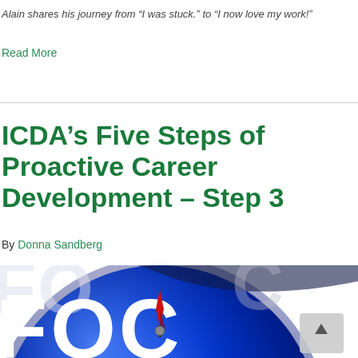Alain shares his journey from “I was stuck.” to “I now love my work!”
Read More
ICDA’s Five Steps of Proactive Career Development – Step 3
By Donna Sandberg
[Figure (photo): Close-up of a blue compass dial showing the word FOCUS in white letters, with a red needle pointing upward, representing focus and direction in career development.]